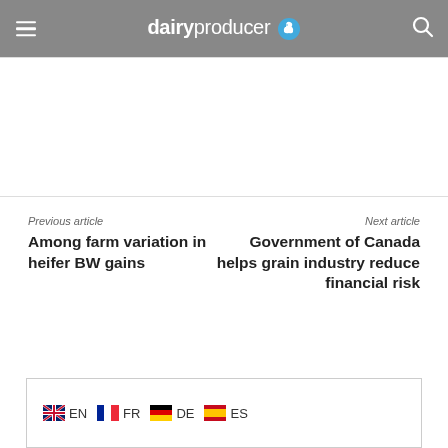dairyproducer
Previous article
Next article
Among farm variation in heifer BW gains
Government of Canada helps grain industry reduce financial risk
EN  FR  DE  ES